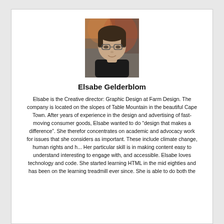[Figure (photo): Head and shoulders portrait photo of Elsabe Gelderblom, a woman with short dark hair and glasses, wearing a dark top, against a colorful abstract background.]
Elsabe Gelderblom
Elsabe is the Creative director: Graphic Design at Farm Design. The company is located on the slopes of Table Mountain in the beautiful Cape Town. After years of experience in the design and advertising of fast-moving consumer goods, Elsabe wanted to do “design that makes a difference”. She therefor concentrates on academic and advocacy work for issues that she considers as important. These include climate change, human rights and h... Her particular skill is in making content easy to understand interesting to engage with, and accessible. Elsabe loves technology and code. She started learning HTML in the mid eighties and has been on the learning treadmill ever since. She is able to do both the...